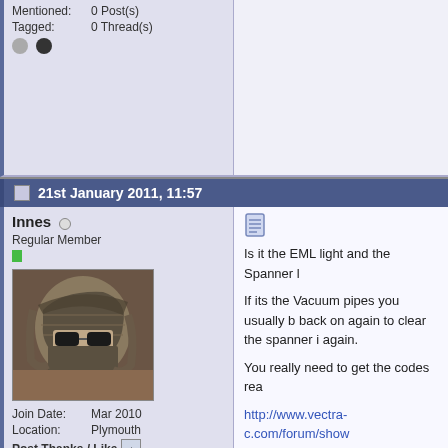Mentioned: 0 Post(s)
Tagged: 0 Thread(s)
21st January 2011, 11:57
Innes
Regular Member
Join Date: Mar 2010
Location: Plymouth
Post Thanks / Like
Mentioned: 0 Post(s)
Tagged: 0 Thread(s)
Is it the EML light and the Spanner l

If its the Vacuum pipes you usually b back on again to clear the spanner i again.

You really need to get the codes rea

http://www.vectra-c.com/forum/show

I haven't tried it on my 2.2dti so don start a thread asking for a member t that go to garage and get it read but on here especially if a member ins m